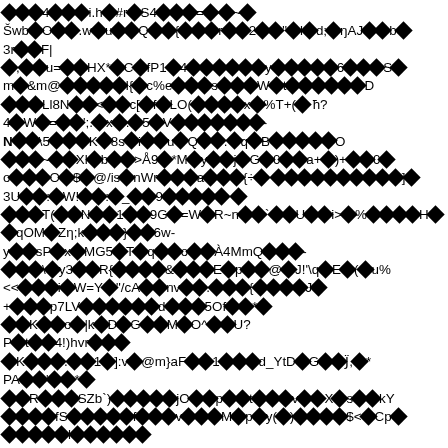Corrupted/encoded binary text content displayed as diamond replacement characters mixed with ASCII characters across multiple lines